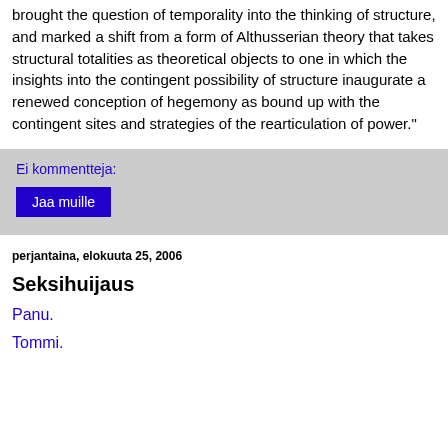brought the question of temporality into the thinking of structure, and marked a shift from a form of Althusserian theory that takes structural totalities as theoretical objects to one in which the insights into the contingent possibility of structure inaugurate a renewed conception of hegemony as bound up with the contingent sites and strategies of the rearticulation of power."
Ei kommentteja:
Jaa muille
perjantaina, elokuuta 25, 2006
Seksihuijaus
Panu.
Tommi.